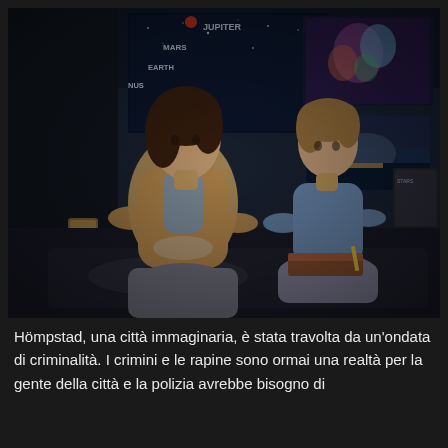[Figure (photo): A woman and a young boy sitting cross-legged on a bed in a dimly lit room decorated with space-themed posters (Jupiter, Mars, Earth, Venus visible). The woman wears a beige knit cardigan and grey pants, looking at the boy. The boy has light brown hair, wears a blue shirt, and holds a book or notebook. The room has a dark, moody atmosphere.]
Hömpstad, una città immaginaria, è stata travolta da un'ondata di criminalità. I crimini e le rapine sono ormai una realtà per la gente della città e la polizia avrebbe bisogno di